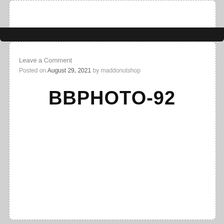Leave a Comment
Posted on August 29, 2021 by maddonutshop
BBPHOTO-92